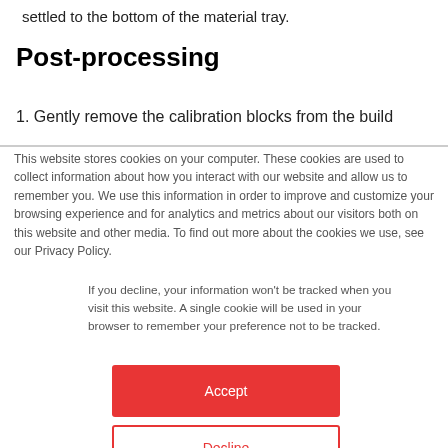settled to the bottom of the material tray.
Post-processing
1. Gently remove the calibration blocks from the build
This website stores cookies on your computer. These cookies are used to collect information about how you interact with our website and allow us to remember you. We use this information in order to improve and customize your browsing experience and for analytics and metrics about our visitors both on this website and other media. To find out more about the cookies we use, see our Privacy Policy.
If you decline, your information won't be tracked when you visit this website. A single cookie will be used in your browser to remember your preference not to be tracked.
Accept
Decline